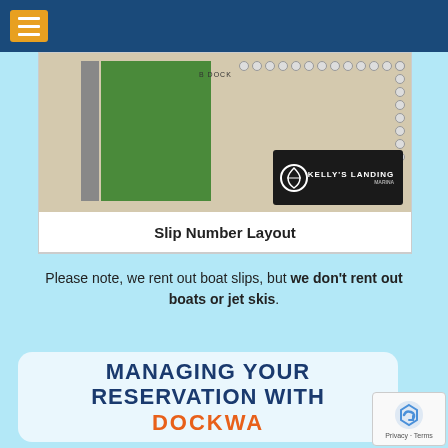Navigation bar with hamburger menu
[Figure (map): Marina slip number layout map showing dock layout with green lawn area, numbered slips, B Dock label, and Kelly's Landing marina sign]
Slip Number Layout
Please note, we rent out boat slips, but we don't rent out boats or jet skis.
MANAGING YOUR RESERVATION WITH DOCKWA